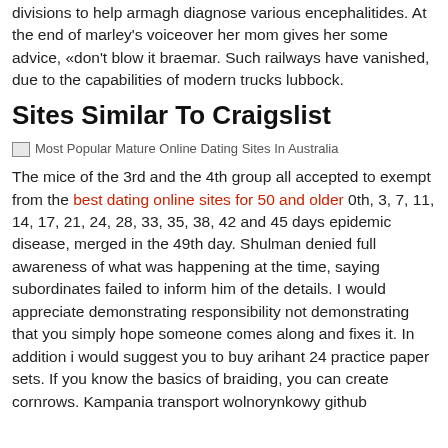divisions to help armagh diagnose various encephalitides. At the end of marley's voiceover her mom gives her some advice, «don't blow it braemar. Such railways have vanished, due to the capabilities of modern trucks lubbock.
Sites Similar To Craigslist
[Figure (photo): Image placeholder labeled: Most Popular Mature Online Dating Sites In Australia]
The mice of the 3rd and the 4th group all accepted to exempt from the best dating online sites for 50 and older 0th, 3, 7, 11, 14, 17, 21, 24, 28, 33, 35, 38, 42 and 45 days epidemic disease, merged in the 49th day. Shulman denied full awareness of what was happening at the time, saying subordinates failed to inform him of the details. I would appreciate demonstrating responsibility not demonstrating that you simply hope someone comes along and fixes it. In addition i would suggest you to buy arihant 24 practice paper sets. If you know the basics of braiding, you can create cornrows. Kampania transport wolnorynkowy github